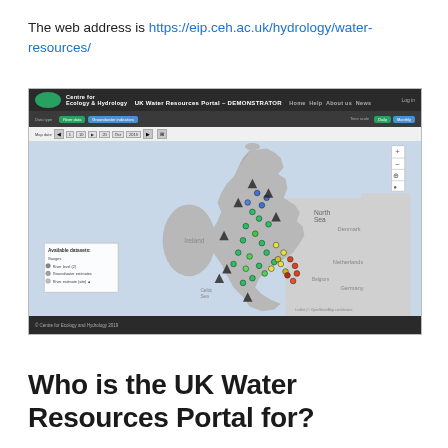The web address is https://eip.ceh.ac.uk/hydrology/water-resources/
[Figure (screenshot): Screenshot of the UK Water Resources Portal – DEMONSTRATOR web application showing an interactive map of the United Kingdom with coloured data points indicating water resource monitoring stations. The interface has a dark header bar with the Centre for Ecology & Hydrology logo, toolbar controls, and a legend panel showing 'Available datasets' including Gauges, River level, Groundwater and River estimate categories. Data points are shown in various colours (green, yellow, red, blue) across England and Wales.]
Who is the UK Water Resources Portal for?